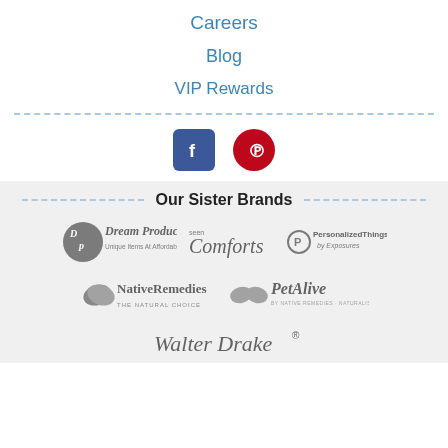Careers
Blog
VIP Rewards
[Figure (infographic): Facebook and Pinterest social media icons]
Our Sister Brands
[Figure (logo): Dream Products logo - Unique Items At Affordable Prices]
[Figure (logo): Seen Comforts logo]
[Figure (logo): PersonalizedThings by Exposures logo]
[Figure (logo): NativeRemedies - The Natural Choice logo]
[Figure (logo): PetAlive by Native Remedies Naturalist logo]
[Figure (logo): Walter Drake logo]